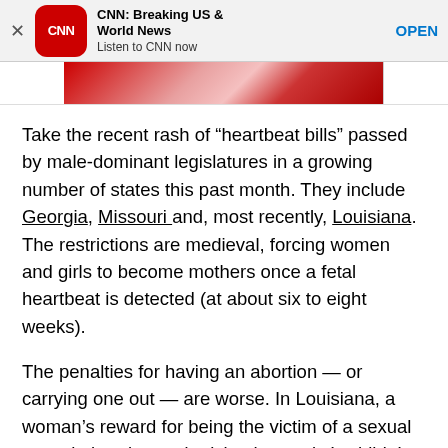[Figure (other): CNN app promotional banner with CNN logo (red rounded square), app name 'CNN: Breaking US & World News', tagline 'Listen to CNN now', close X button, and OPEN button]
[Figure (photo): Partial photo showing red sparkly fabric/clothing and a person's face partially visible]
Take the recent rash of “heartbeat bills” passed by male-dominant legislatures in a growing number of states this past month. They include Georgia, Missouri and, most recently, Louisiana. The restrictions are medieval, forcing women and girls to become mothers once a fetal heartbeat is detected (at about six to eight weeks).
The penalties for having an abortion — or carrying one out — are worse. In Louisiana, a woman’s reward for being the victim of a sexual assault: bearing and raising her rapist’s child. In Alabama, abortion has been almost entirely banned, including